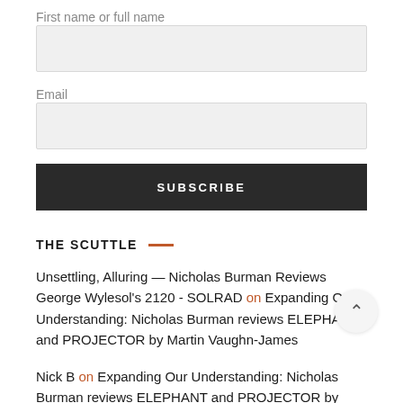First name or full name
[Figure (other): Empty text input field for first name or full name]
Email
[Figure (other): Empty text input field for email]
SUBSCRIBE
THE SCUTTLE
Unsettling, Alluring — Nicholas Burman Reviews George Wylesol's 2120 - SOLRAD on Expanding Our Understanding: Nicholas Burman reviews ELEPHANT and PROJECTOR by Martin Vaughn-James
Nick B on Expanding Our Understanding: Nicholas Burman reviews ELEPHANT and PROJECTOR by